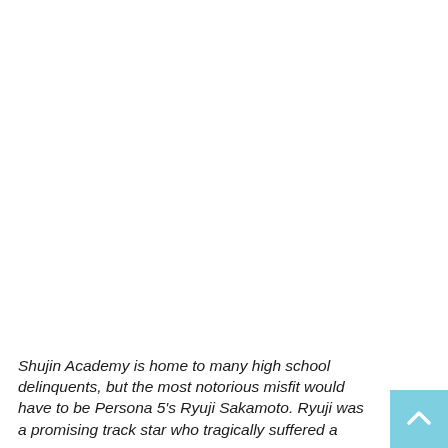Shujin Academy is home to many high school delinquents, but the most notorious misfit would have to be Persona 5's Ryuji Sakamoto. Ryuji was a promising track star who tragically suffered a